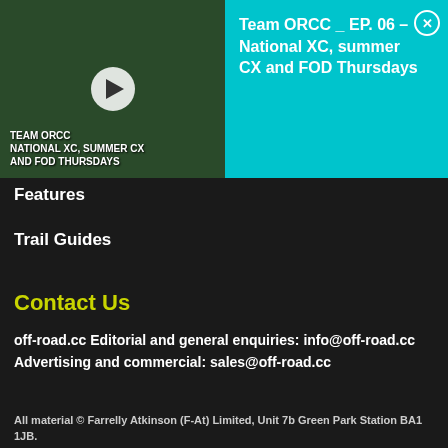[Figure (screenshot): Video thumbnail showing a mountain bike rider on a dirt trail, with play button overlay and text 'TEAM ORCC NATIONAL XC, SUMMER CX AND FOD THURSDAYS']
Team ORCC _ EP. 06 – National XC, summer CX and FOD Thursdays
Features
Trail Guides
Contact Us
off-road.cc Editorial and general enquiries: info@off-road.cc
Advertising and commercial: sales@off-road.cc
All material © Farrelly Atkinson (F-At) Limited, Unit 7b Green Park Station BA1 1JB.